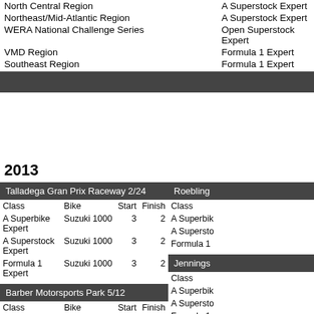North Central Region | A Superstock Expert
Northeast/Mid-Atlantic Region | A Superstock Expert
WERA National Challenge Series | Open Superstock Expert
VMD Region | Formula 1 Expert
Southeast Region | Formula 1 Expert
2013
| Class | Bike | Start | Finish |
| --- | --- | --- | --- |
| A Superbike Expert | Suzuki 1000 | 3 | 2 |
| A Superstock Expert | Suzuki 1000 | 3 | 2 |
| Formula 1 Expert | Suzuki 1000 | 3 | 2 |
| Class |
| --- |
| A Superbike Expert |
| A Superstock Expert |
| Formula 1 |
| Class | Bike | Start | Finish |
| --- | --- | --- | --- |
| A Superbike Expert | Kawasaki 1000 | 5 | 8 |
| A Superstock Expert | Kawasaki 1000 | 5 | 3 |
| Formula 1 Expert | Kawasaki 1000 | 1 | 7 |
| Heavyweight Solo Expert | Kawasaki 1000 | 6 | 13 |
| Class |
| --- |
| A Superbike Expert |
| A Superstock Expert |
| Formula 1 |
| Class | Bike | Start | Finish |
| --- | --- | --- | --- |
| A Superbike Expert | Kawasaki 1000 | 1 | 1 |
| Class |
| --- |
| A Superbike Expert |